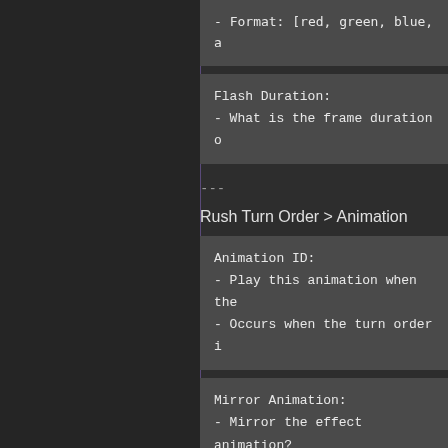- Format: [red, green, blue, a
Flash Duration:
- What is the frame duration o
---
Rush Turn Order > Animation
Animation ID:
- Play this animation when the
- Occurs when the turn order i
Mirror Animation:
- Mirror the effect animation?
- Occurs when the turn order i
Mute Animation:
- Mute the effect animation?
- Occurs when the turn order i